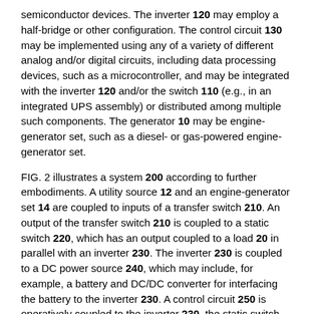semiconductor devices. The inverter 120 may employ a half-bridge or other configuration. The control circuit 130 may be implemented using any of a variety of different analog and/or digital circuits, including data processing devices, such as a microcontroller, and may be integrated with the inverter 120 and/or the switch 110 (e.g., in an integrated UPS assembly) or distributed among multiple such components. The generator 10 may be engine-generator set, such as a diesel- or gas-powered engine-generator set.
FIG. 2 illustrates a system 200 according to further embodiments. A utility source 12 and an engine-generator set 14 are coupled to inputs of a transfer switch 210. An output of the transfer switch 210 is coupled to a static switch 220, which has an output coupled to a load 20 in parallel with an inverter 230. The inverter 230 is coupled to a DC power source 240, which may include, for example, a battery and DC/DC converter for interfacing the battery to the inverter 230. A control circuit 250 is operatively coupled to the inverter 230, the static switch 220, the transfer switch 210 and/or the engine-generator set 14 to allow control and/or monitoring thereof.